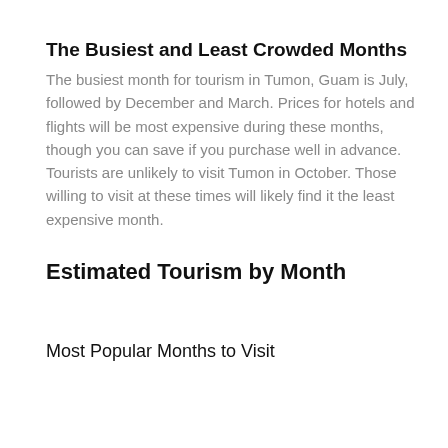The Busiest and Least Crowded Months
The busiest month for tourism in Tumon, Guam is July, followed by December and March. Prices for hotels and flights will be most expensive during these months, though you can save if you purchase well in advance. Tourists are unlikely to visit Tumon in October. Those willing to visit at these times will likely find it the least expensive month.
Estimated Tourism by Month
Most Popular Months to Visit